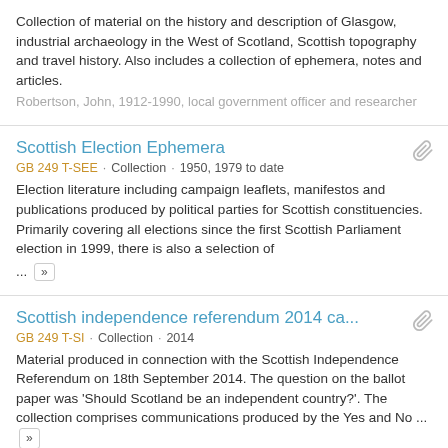Collection of material on the history and description of Glasgow, industrial archaeology in the West of Scotland, Scottish topography and travel history. Also includes a collection of ephemera, notes and articles.
Robertson, John, 1912-1990, local government officer and researcher
Scottish Election Ephemera
GB 249 T-SEE · Collection · 1950, 1979 to date
Election literature including campaign leaflets, manifestos and publications produced by political parties for Scottish constituencies. Primarily covering all elections since the first Scottish Parliament election in 1999, there is also a selection of ...
Scottish independence referendum 2014 ca...
GB 249 T-SI · Collection · 2014
Material produced in connection with the Scottish Independence Referendum on 18th September 2014. The question on the ballot paper was 'Should Scotland be an independent country?'. The collection comprises communications produced by the Yes and No ...